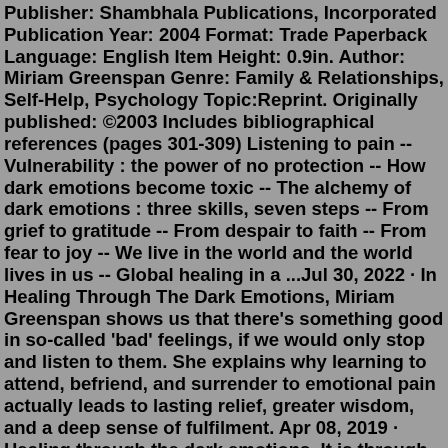Publisher: Shambhala Publications, Incorporated Publication Year: 2004 Format: Trade Paperback Language: English Item Height: 0.9in. Author: Miriam Greenspan Genre: Family & Relationships, Self-Help, Psychology Topic:Reprint. Originally published: ©2003 Includes bibliographical references (pages 301-309) Listening to pain -- Vulnerability : the power of no protection -- How dark emotions become toxic -- The alchemy of dark emotions : three skills, seven steps -- From grief to gratitude -- From despair to faith -- From fear to joy -- We live in the world and the world lives in us -- Global healing in a ...Jul 30, 2022 · In Healing Through The Dark Emotions, Miriam Greenspan shows us that there's something good in so-called 'bad' feelings, if we would only stop and listen to them. She explains why learning to attend, befriend, and surrender to emotional pain actually leads to lasting relief, greater wisdom, and a deep sense of fulfilment. Apr 08, 2019 · Healing through the dark emotions. It is through surrender to the unwanted that we embrace our vulnerabilities.